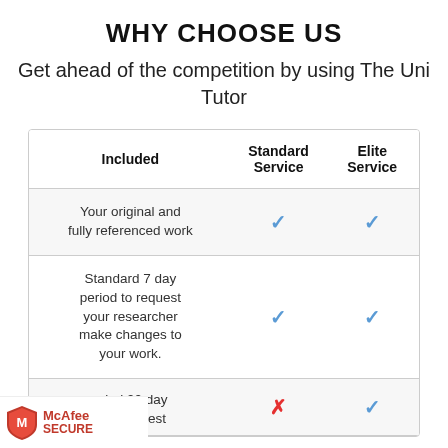WHY CHOOSE US
Get ahead of the competition by using The Uni Tutor
| Included | Standard Service | Elite Service |
| --- | --- | --- |
| Your original and fully referenced work | ✓ | ✓ |
| Standard 7 day period to request your researcher make changes to your work. | ✓ | ✓ |
| …nded 90 day …d to request | ✗ | ✓ |
[Figure (logo): McAfee SECURE logo badge in bottom left corner]